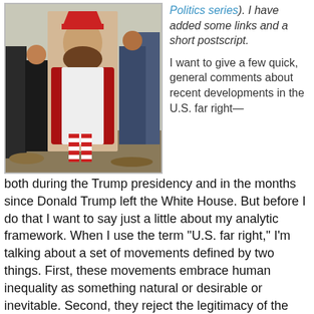[Figure (photo): Outdoor rally scene with people walking and carrying a large banner depicting a Jesus-like figure wearing a red hat and striped red-and-white socks, in a crowd setting.]
Politics series). I have added some links and a short postscript.

I want to give a few quick, general comments about recent developments in the U.S. far right—both during the Trump presidency and in the months since Donald Trump left the White House. But before I do that I want to say just a little about my analytic framework. When I use the term “U.S. far right,” I’m talking about a set of movements defined by two things. First, these movements embrace human inequality as something natural or desirable or inevitable. Second, they reject the legitimacy of the existing U.S. political system. This definition is not intended for all times and places, but specifically for understanding the far right in the United States in this historical period.
This definition of the far right does a couple of things. First, it emphasizes that the far right encompasses multiple